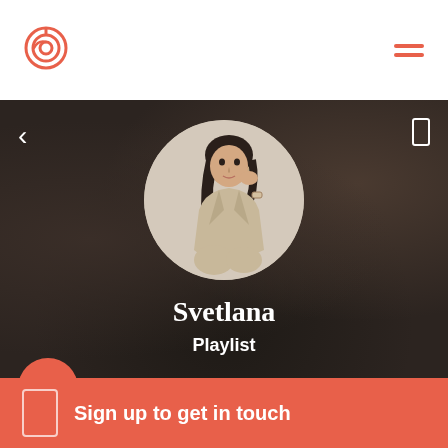[Figure (logo): Circular target/spiral logo icon in coral/orange color]
[Figure (other): Hamburger menu icon with two orange horizontal bars]
[Figure (photo): Dark textured fabric background with a circular profile photo of a woman named Svetlana in beige/cream outfit, sitting pose]
Svetlana
Playlist
Sign up to get in touch